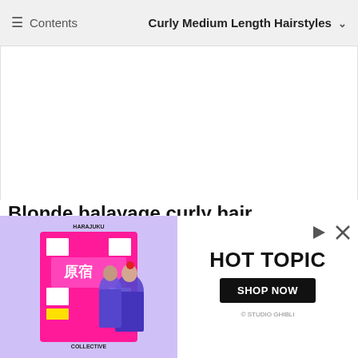☰ Contents   Curly Medium Length Hairstyles ˅
Blonde balayage curly hair
[Figure (photo): Top view of wavy blonde balayage curly hair being tossed, with a blurred colorful background.]
[Figure (photo): Advertisement banner showing Harajuku Collective logo on the left with two models in purple outfits, and Hot Topic branding with Shop Now button on the right.]